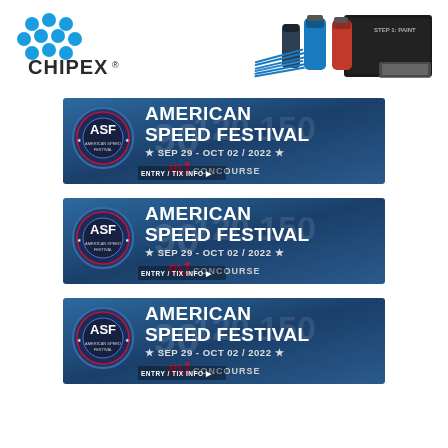[Figure (logo): Chipex logo with blue circular dot pattern and CHIPEX text with registered trademark]
[Figure (photo): Chipex car paint repair product kit showing blue and red bottles, applicator brushes, and cloth/mat]
[Figure (illustration): American Speed Festival banner ad: ASF circular logo, text AMERICAN SPEED FESTIVAL, SEP 29 - OCT 02 / 2022, M1 Concourse, ENTRY / TIX INFO]
[Figure (illustration): American Speed Festival banner ad (duplicate 2): ASF circular logo, text AMERICAN SPEED FESTIVAL, SEP 29 - OCT 02 / 2022, M1 Concourse, ENTRY / TIX INFO]
[Figure (illustration): American Speed Festival banner ad (duplicate 3): ASF circular logo, text AMERICAN SPEED FESTIVAL, SEP 29 - OCT 02 / 2022, M1 Concourse, ENTRY / TIX INFO]